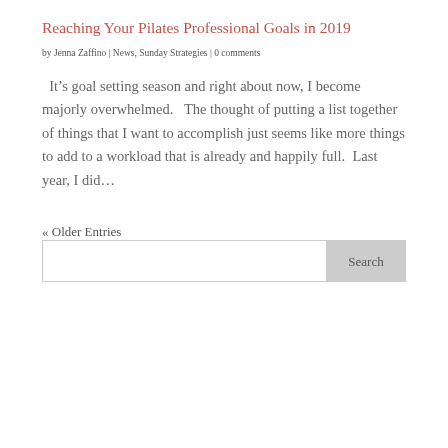Reaching Your Pilates Professional Goals in 2019
by Jenna Zaffino | News, Sunday Strategies | 0 comments
It’s goal setting season and right about now, I become majorly overwhelmed.  The thought of putting a list together of things that I want to accomplish just seems like more things to add to a workload that is already and happily full.  Last year, I did…
« Older Entries
Search